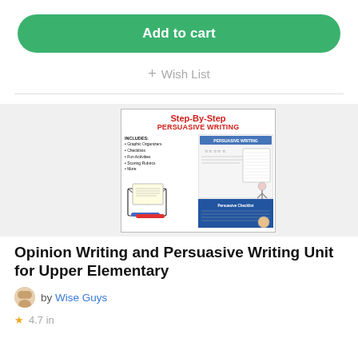Add to cart
+ Wish List
[Figure (illustration): Step-By-Step Persuasive Writing product cover showing graphic organizers, checklist, fun activities, scoring rubrics, and more, with an envelope, markers, and a student character illustration.]
Opinion Writing and Persuasive Writing Unit for Upper Elementary
by Wise Guys
4.7 in